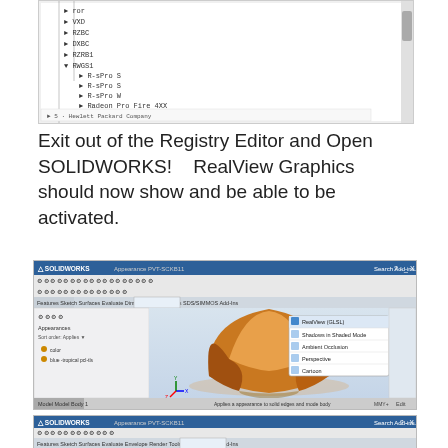[Figure (screenshot): Windows Registry Editor screenshot showing a tree structure with entries including file paths and Radeon Pro GPU entries]
Exit out of the Registry Editor and Open SOLIDWORKS!   RealView Graphics should now show and be able to be activated.
[Figure (screenshot): SOLIDWORKS application screenshot showing a 3D model of an orange/brown rounded triangular solid shape with RealView Graphics dropdown menu visible showing options: RealView (GLSL), Shadows in Shaded Mode, Ambient Occlusion, Perspective, Cartoon]
[Figure (screenshot): SOLIDWORKS application screenshot partial view showing toolbar and tabs at bottom of screen]